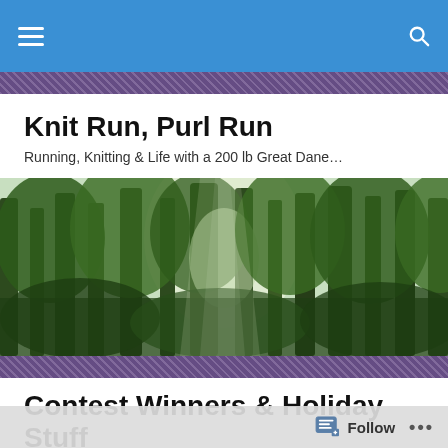Navigation bar with menu and search icons
Knit Run, Purl Run
Running, Knitting & Life with a 200 lb Great Dane…
[Figure (photo): Wide panoramic photo of a lush green forest with tall trees and sunlight filtering through the canopy]
Contest Winners & Holiday Stuff
Running
Follow  •••